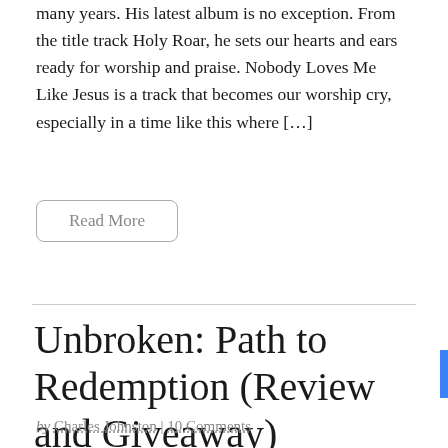many years. His latest album is no exception. From the title track Holy Roar, he sets our hearts and ears ready for worship and praise. Nobody Loves Me Like Jesus is a track that becomes our worship cry, especially in a time like this where […]
Read More
Unbroken: Path to Redemption (Review and Giveaway)
by Charles Johnston | 10 Comments